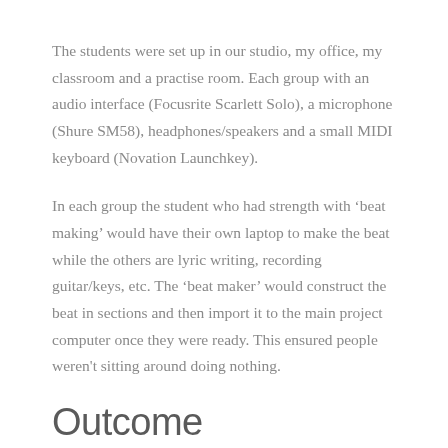The students were set up in our studio, my office, my classroom and a practise room. Each group with an audio interface (Focusrite Scarlett Solo), a microphone (Shure SM58), headphones/speakers and a small MIDI keyboard (Novation Launchkey).
In each group the student who had strength with ‘beat making’ would have their own laptop to make the beat while the others are lyric writing, recording guitar/keys, etc. The ‘beat maker’ would construct the beat in sections and then import it to the main project computer once they were ready. This ensured people weren't sitting around doing nothing.
Outcome